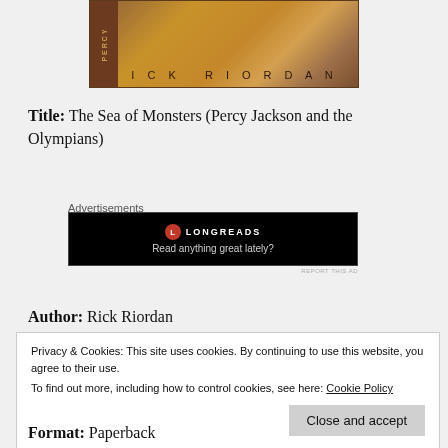[Figure (illustration): Book cover of 'The Sea of Monsters' by Rick Riordan showing a brown/golden textured background with author name 'RICK RIORDAN' in spaced caps, and a spine reading 'PERCY' vertically]
Title: The Sea of Monsters (Percy Jackson and the Olympians)
Advertisements
[Figure (screenshot): Black advertisement banner for Longreads with logo and text 'Read anything great lately?']
REPORT THIS AD
Author: Rick Riordan
Privacy & Cookies: This site uses cookies. By continuing to use this website, you agree to their use.
To find out more, including how to control cookies, see here: Cookie Policy
Close and accept
Format: Paperback